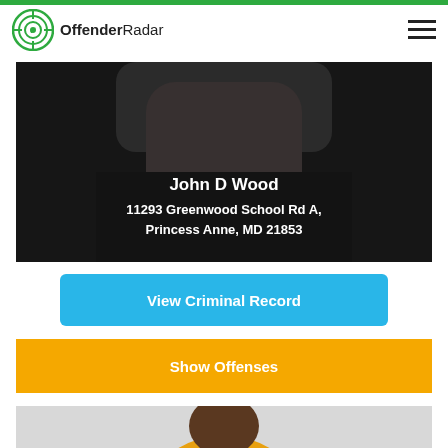[Figure (logo): OffenderRadar logo: circular radar/target icon in green with text 'OffenderRadar']
[Figure (photo): Cropped mugshot photo of John D Wood showing chin/neck with dark shirt, with name and address overlay: 'John D Wood, 11293 Greenwood School Rd A, Princess Anne, MD 21853']
View Criminal Record
Show Offenses
[Figure (photo): Mugshot photo of an older Black man wearing a yellow polo shirt, standing against a light gray/white wall]